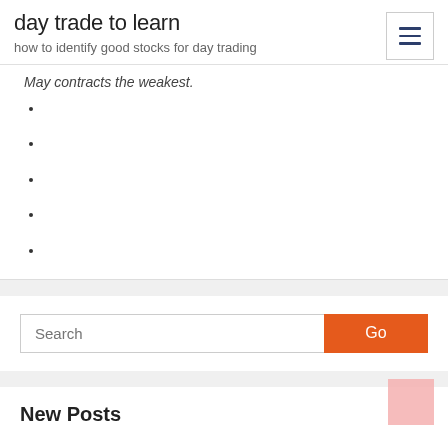day trade to learn
how to identify good stocks for day trading
May contracts the weakest.
Search
New Posts